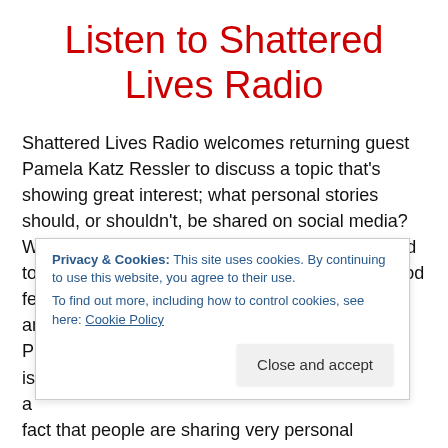Listen to Shattered Lives Radio
Shattered Lives Radio welcomes returning guest Pamela Katz Ressler to discuss a topic that's showing great interest; what personal stories should, or shouldn't, be shared on social media? With the increase of users there has been a trend to use social media platforms as the neighborhood fence to talk with one another about all the ups and downs of the day, and, i... P... is... a... fact that people are sharing very personal experiences
Privacy & Cookies: This site uses cookies. By continuing to use this website, you agree to their use. To find out more, including how to control cookies, see here: Cookie Policy
Close and accept